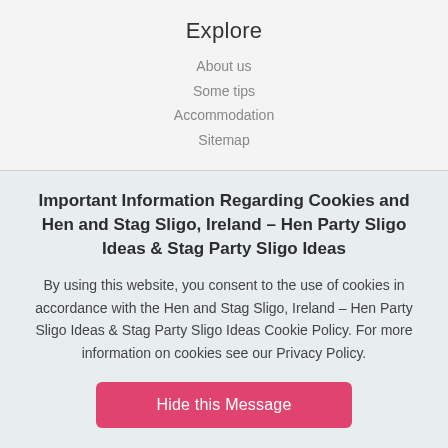Explore
About us
Some tips
Accommodation
Sitemap
Important Information Regarding Cookies and Hen and Stag Sligo, Ireland – Hen Party Sligo Ideas & Stag Party Sligo Ideas
By using this website, you consent to the use of cookies in accordance with the Hen and Stag Sligo, Ireland – Hen Party Sligo Ideas & Stag Party Sligo Ideas Cookie Policy. For more information on cookies see our Privacy Policy.
Hide this Message